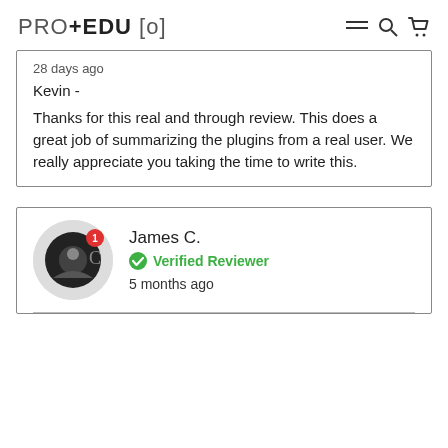PRO+EDU [o]
28 days ago
Kevin -
Thanks for this real and through review. This does a great job of summarizing the plugins from a real user. We really appreciate you taking the time to write this.
James C.
Verified Reviewer
5 months ago